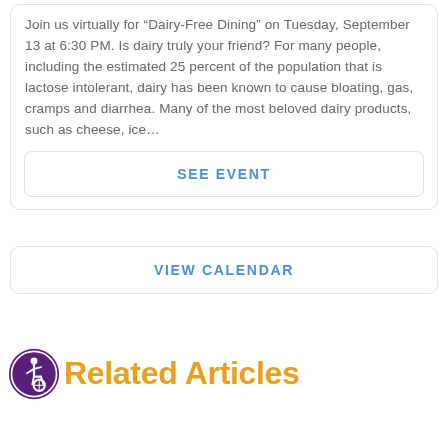Join us virtually for “Dairy-Free Dining” on Tuesday, September 13 at 6:30 PM. Is dairy truly your friend? For many people, including the estimated 25 percent of the population that is lactose intolerant, dairy has been known to cause bloating, gas, cramps and diarrhea. Many of the most beloved dairy products, such as cheese, ice…
SEE EVENT
VIEW CALENDAR
Related Articles